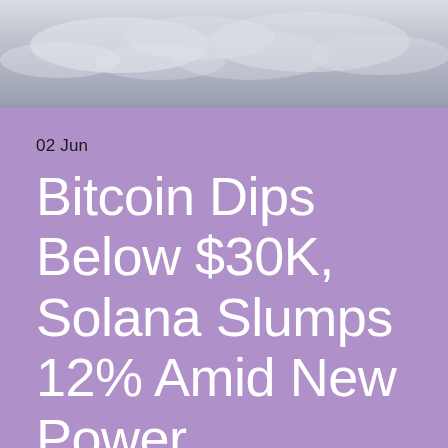[Figure (photo): Cloudy sky background image at the top of the page]
02 Jun
Bitcoin Dips Below $30K, Solana Slumps 12% Amid New Power